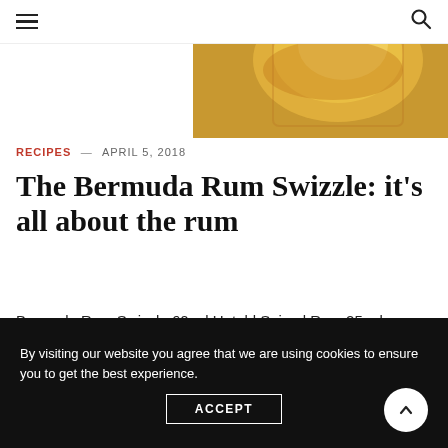≡  🔍
[Figure (photo): Close-up photo of a golden-amber cocktail drink in a glass, likely the Bermuda Rum Swizzle]
RECIPES — APRIL 5, 2018
The Bermuda Rum Swizzle: it's all about the rum
Bermuda Rum Swizzle 60 ml Untold Spiced Rum 25 ml falernum 30 ml pineapple juice...
By visiting our website you agree that we are using cookies to ensure you to get the best experience.
ACCEPT